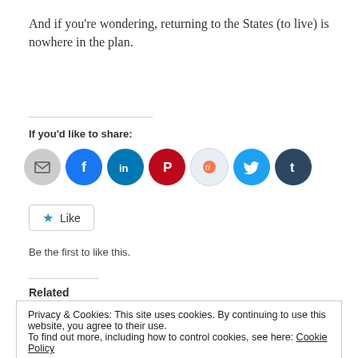And if you're wondering, returning to the States (to live) is nowhere in the plan.
If you'd like to share:
[Figure (infographic): Row of social share icon buttons: email (grey), Facebook (blue), LinkedIn (teal), Pinterest (red), Reddit (light blue), Twitter (blue), Tumblr (dark blue)]
Like  Be the first to like this.
Related
Privacy & Cookies: This site uses cookies. By continuing to use this website, you agree to their use.
To find out more, including how to control cookies, see here: Cookie Policy
03/12/2010